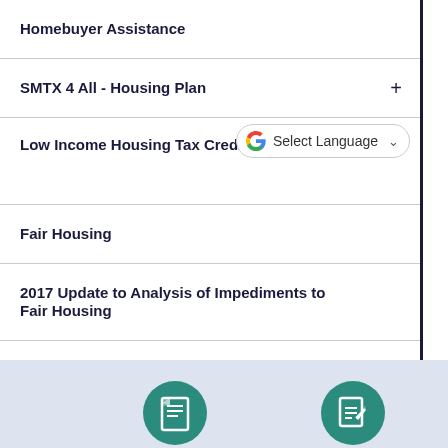Homebuyer Assistance
SMTX 4 All - Housing Plan
Low Income Housing Tax Credit Projects
Fair Housing
2017 Update to Analysis of Impediments to Fair Housing
Home Rehabilitation / Repair Program
[Figure (screenshot): Google Translate widget: G logo, 'Select Language' text, and dropdown arrow in a rounded pill-shaped button]